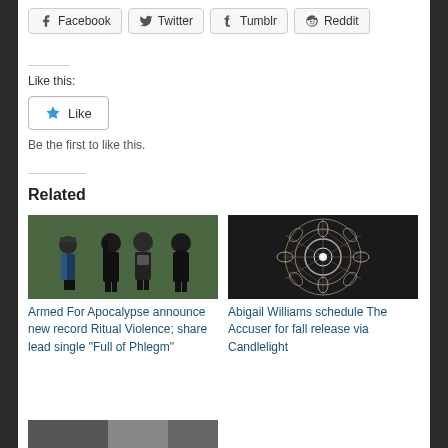[Figure (other): Social sharing buttons: Facebook, Twitter, Tumblr, Reddit]
Like this:
[Figure (other): Like button widget with blue star icon]
Be the first to like this.
Related
[Figure (photo): Photo of four band members standing in front of a green wall, wearing black clothing]
Armed For Apocalypse announce new record Ritual Violence; share lead single “Full of Phlegm”
[Figure (photo): Black and white mandala/geometric pattern artwork]
Abigail Williams schedule The Accuser for fall release via Candlelight
[Figure (photo): Partial image visible at bottom of page]